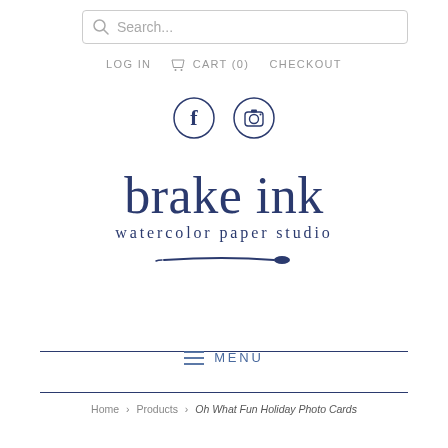[Figure (screenshot): Search bar with magnifying glass icon and placeholder text 'Search...']
LOG IN   CART (0)   CHECKOUT
[Figure (logo): Social media icons: Facebook (f) and Instagram (camera) in circles, dark navy blue outline]
[Figure (logo): brake ink watercolor paper studio logo with paintbrush decoration]
MENU
Home > Products > Oh What Fun Holiday Photo Cards